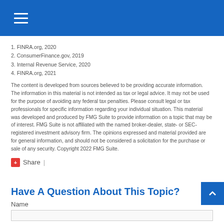Navigation menu header bar with hamburger icon
1. FINRA.org, 2020
2. ConsumerFinance.gov, 2019
3. Internal Revenue Service, 2020
4. FINRA.org, 2021
The content is developed from sources believed to be providing accurate information. The information in this material is not intended as tax or legal advice. It may not be used for the purpose of avoiding any federal tax penalties. Please consult legal or tax professionals for specific information regarding your individual situation. This material was developed and produced by FMG Suite to provide information on a topic that may be of interest. FMG Suite is not affiliated with the named broker-dealer, state- or SEC-registered investment advisory firm. The opinions expressed and material provided are for general information, and should not be considered a solicitation for the purchase or sale of any security. Copyright 2022 FMG Suite.
+Share |
Have A Question About This Topic?
Name